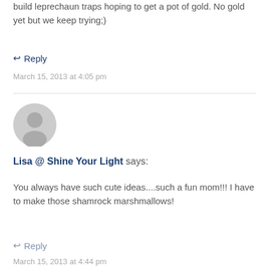build leprechaun traps hoping to get a pot of gold. No gold yet but we keep trying;)
↩ Reply
March 15, 2013 at 4:05 pm
[Figure (illustration): Generic gray user avatar icon showing silhouette of a person's head and shoulders inside a circle]
Lisa @ Shine Your Light says:
You always have such cute ideas....such a fun mom!!! I have to make those shamrock marshmallows!
↩ Reply
March 15, 2013 at 4:44 pm